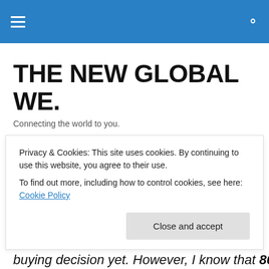THE NEW GLOBAL WE.
THE NEW GLOBAL WE.
Connecting the world to you.
TAGGED WITH EMAILS
My Favorite Email from a Novice Marketer
Privacy & Cookies: This site uses cookies. By continuing to use this website, you agree to their use. To find out more, including how to control cookies, see here: Cookie Policy
Close and accept
buying decision yet. However, I know that 80% of leads